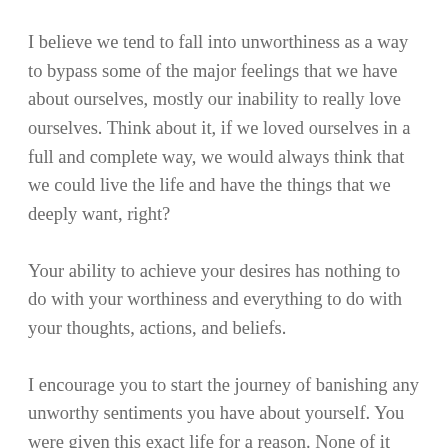I believe we tend to fall into unworthiness as a way to bypass some of the major feelings that we have about ourselves, mostly our inability to really love ourselves. Think about it, if we loved ourselves in a full and complete way, we would always think that we could live the life and have the things that we deeply want, right?
Your ability to achieve your desires has nothing to do with your worthiness and everything to do with your thoughts, actions, and beliefs.
I encourage you to start the journey of banishing any unworthy sentiments you have about yourself. You were given this exact life for a reason. None of it